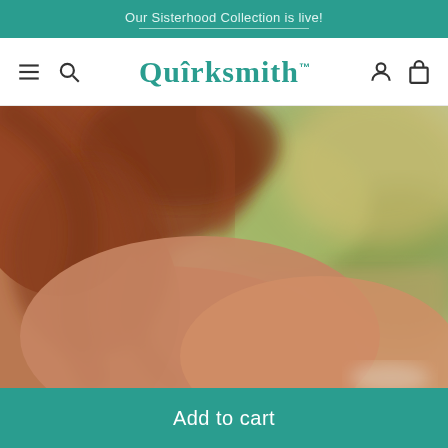Our Sisterhood Collection is live!
[Figure (logo): Quirksmith brand logo in teal serif font with TM mark]
[Figure (photo): Close-up photo of a woman with reddish-brown hair, shot from behind, with blurred green outdoor background. Warm vintage tones.]
Add to cart